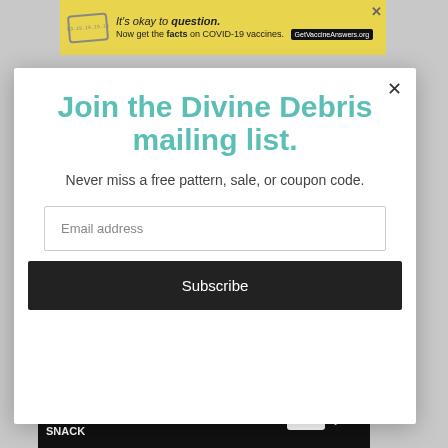[Figure (screenshot): Yellow advertisement banner: 'It's okay to question. Now get the facts on COVID-19 vaccines. GetVaccineAnswers.org' with a stamp graphic and close button.]
Join the Divine Debris mailing list.
Never miss a free pattern, sale, or coupon code.
Email address
Subscribe
Notes
[Figure (screenshot): Black advertisement banner: 'THE DELICIOUS, SOFT-BAKED SNACK' with ZBAR product logo and close buttons.]